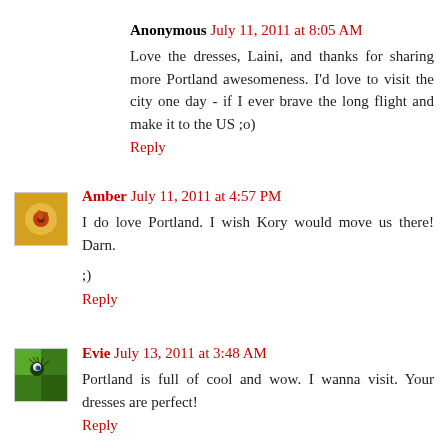Anonymous July 11, 2011 at 8:05 AM
Love the dresses, Laini, and thanks for sharing more Portland awesomeness. I'd love to visit the city one day - if I ever brave the long flight and make it to the US ;o)
Reply
Amber July 11, 2011 at 4:57 PM
I do love Portland. I wish Kory would move us there! Darn.
;)
Reply
Evie July 13, 2011 at 3:48 AM
Portland is full of cool and wow. I wanna visit. Your dresses are perfect!
Reply